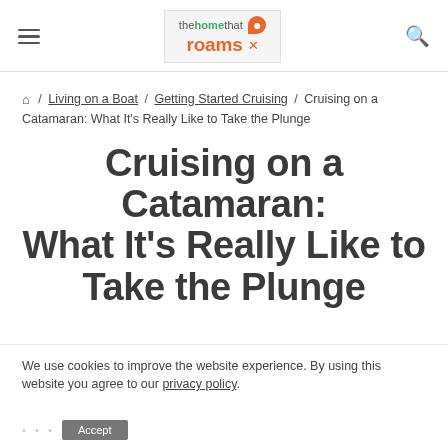the home that roams
⌂ / Living on a Boat / Getting Started Cruising / Cruising on a Catamaran: What It's Really Like to Take the Plunge
Cruising on a Catamaran: What It's Really Like to Take the Plunge
We use cookies to improve the website experience. By using this website you agree to our privacy policy.